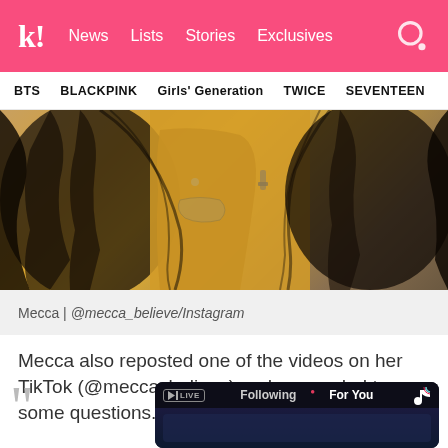k! News Lists Stories Exclusives
BTS BLACKPINK Girls' Generation TWICE SEVENTEEN
[Figure (photo): Close-up photo of a person with long dark wavy hair, wearing a yellow/orange outfit with denim jacket, jewelry visible]
Mecca | @mecca_believe/Instagram
Mecca also reposted one of the videos on her TikTok (@meccaxbelieve) and responded to some questions.
[Figure (screenshot): TikTok app screenshot showing Following and For You tabs at top, with LIVE badge and TikTok logo]